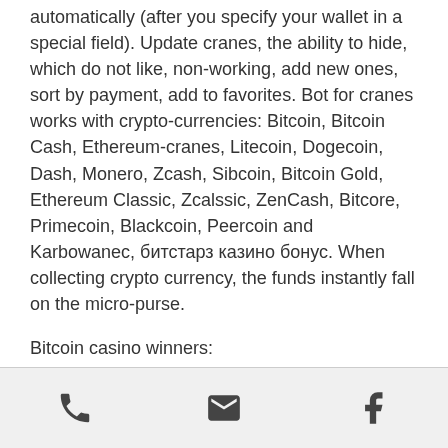automatically (after you specify your wallet in a special field). Update cranes, the ability to hide, which do not like, non-working, add new ones, sort by payment, add to favorites. Bot for cranes works with crypto-currencies: Bitcoin, Bitcoin Cash, Ethereum-cranes, Litecoin, Dogecoin, Dash, Monero, Zcash, Sibcoin, Bitcoin Gold, Ethereum Classic, Zcalssic, ZenCash, Bitcore, Primecoin, Blackcoin, Peercoin and Karbowanec, битстарз казино бонус. When collecting crypto currency, the funds instantly fall on the micro-purse.
Bitcoin casino winners:
Golden Bucks - 506.1 btc
Magic Wilds - 646.8 bch
The True Sheriff - 642.1 ltc
Dracula's Blood Bank - 110.2 eth
phone | email | facebook